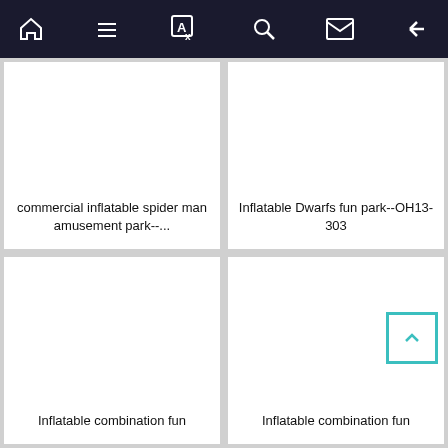Navigation toolbar with home, list, translate, search, email, and back icons
commercial inflatable spider man amusement park--...
Inflatable Dwarfs fun park--OH13-303
Inflatable combination fun
Inflatable combination fun